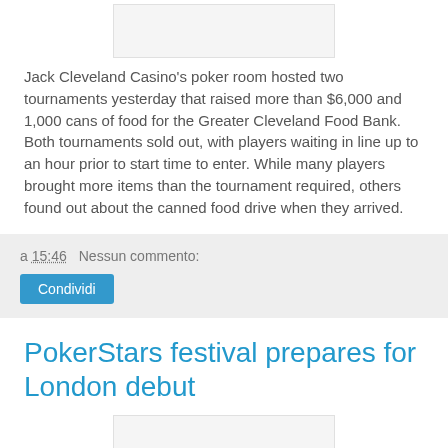[Figure (other): Image placeholder at top of article]
Jack Cleveland Casino's poker room hosted two tournaments yesterday that raised more than $6,000 and 1,000 cans of food for the Greater Cleveland Food Bank. Both tournaments sold out, with players waiting in line up to an hour prior to start time to enter. While many players brought more items than the tournament required, others found out about the canned food drive when they arrived.
a 15:46   Nessun commento:
Condividi
PokerStars festival prepares for London debut
[Figure (other): Image placeholder for PokerStars article]